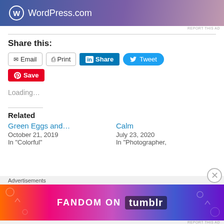[Figure (illustration): WordPress.com banner ad with blue-purple gradient background and WordPress logo with text]
REPORT THIS AD
Share this:
[Figure (other): Social share buttons: Email, Print, LinkedIn Share, Tweet, Save (Pinterest)]
Loading...
Related
Green Eggs and...
October 21, 2019
In "Colorful"
Calm
July 23, 2020
In "Photographer,
Advertisements
[Figure (illustration): Fandom on Tumblr colorful banner advertisement with orange to purple gradient and illustrated icons]